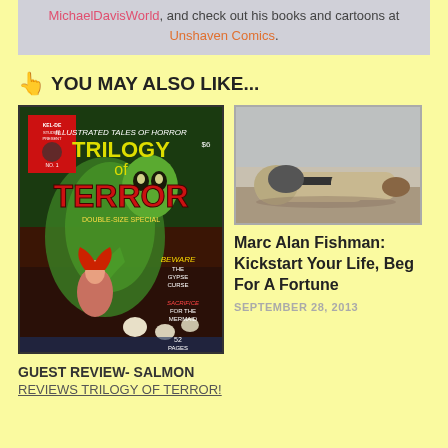MichaelDavisWorld, and check out his books and cartoons at Unshaven Comics.
👆 YOU MAY ALSO LIKE...
[Figure (illustration): Horror comic book cover: Illustrated Tales of Horror - Trilogy of Terror, Double-Size Special, No. 1, $6, 52 pages. Features a green monster, red-haired woman, skulls. Stories: Beware the Gypse Curse, Sacrifice for the Mermaid.]
[Figure (photo): A person in tan/khaki pants lying face-down on the ground, head tucked in, in a balled-up position.]
Marc Alan Fishman: Kickstart Your Life, Beg For A Fortune
SEPTEMBER 28, 2013
GUEST REVIEW- SALMON
REVIEWS TRILOGY OF TERROR!